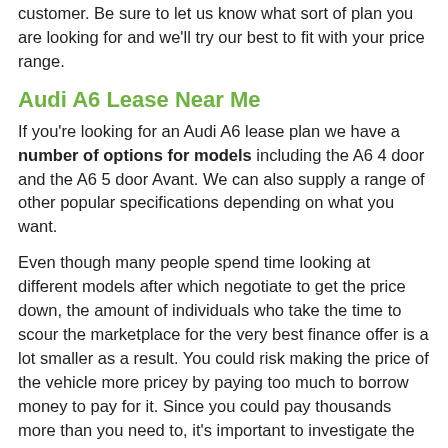customer. Be sure to let us know what sort of plan you are looking for and we'll try our best to fit with your price range.
Audi A6 Lease Near Me
If you're looking for an Audi A6 lease plan we have a number of options for models including the A6 4 door and the A6 5 door Avant. We can also supply a range of other popular specifications depending on what you want.
Even though many people spend time looking at different models after which negotiate to get the price down, the amount of individuals who take the time to scour the marketplace for the very best finance offer is a lot smaller as a result. You could risk making the price of the vehicle more pricey by paying too much to borrow money to pay for it. Since you could pay thousands more than you need to, it's important to investigate the various financial specialists, offers and rates of interest.
Hire Purchase additionally abbreviated to HP is a way of purchasing a vehicle on finance from quality specialists in Barnoldswick LA2 7 and is paid off in instalments where payments are spread over 12-60 months and you typically (but not always)